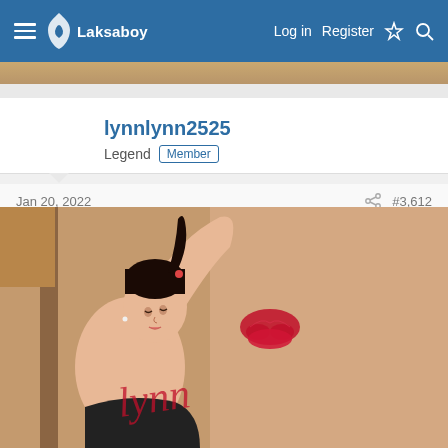Laksaboy | Log in | Register
[Figure (photo): Top banner image strip showing a partial tan/brown background image]
lynnlynn2525
Legend Member
Jan 20, 2022  #3,612
[Figure (photo): Photo of a woman with dark hair in a ponytail, arms raised, wearing dark top, with a red lips watermark and 'lynn' script text overlay on a peach/tan background]